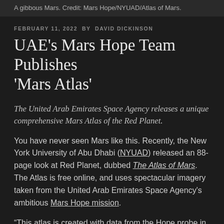A gibbous Mars. Credit: Mars Hope/NYUAD/Atlas of Mars.
FEBRUARY 11, 2022 BY DAVID DICKINSON
UAE's Mars Hope Team Publishes 'Mars Atlas'
The United Arab Emirates Space Agency releases a unique comprehensive Mars Atlas of the Red Planet.
You have never seen Mars like this. Recently, the New York University of Abu Dhabi (NYUAD) released an 88-page look at Red Planet, dubbed The Atlas of Mars. The Atlas is free online, and uses spectacular imagery taken from the United Arab Emirates Space Agency's ambitious Mars Hope mission.
“This atlas is created with data from the Hope probe in an